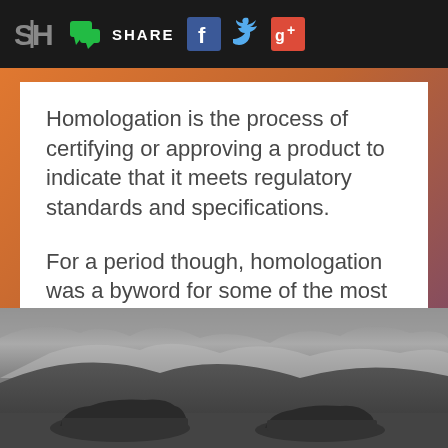SH | SHARE [Facebook] [Twitter] [Google+]
Homologation is the process of certifying or approving a product to indicate that it meets regulatory standards and specifications.
For a period though, homologation was a byword for some of the most incredible machines to ever grace our roads.
[Figure (photo): Black and white photograph of two cars parked on a road with hills and dramatic cloudy sky in the background]